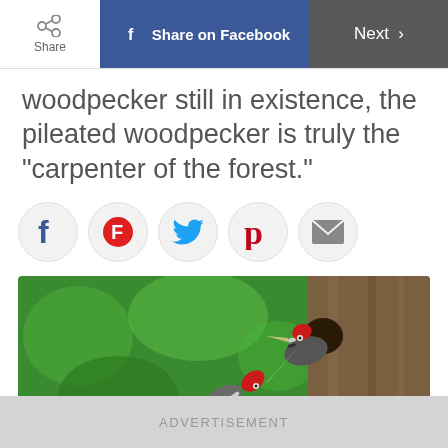Share | Share on Facebook | Next >
woodpecker still in existence, the pileated woodpecker is truly the "carpenter of the forest."
[Figure (infographic): Row of social sharing buttons: Facebook (blue f), Flipboard (red circle with white f), Twitter (blue bird), Pinterest (red P), Email (grey envelope) — each in a light grey circle]
[Figure (photo): Two pileated woodpeckers with bright red crests at a hole in a weathered wooden post. Green blurred background. One bird is at the hole, one is approaching from below.]
ADVERTISEMENT